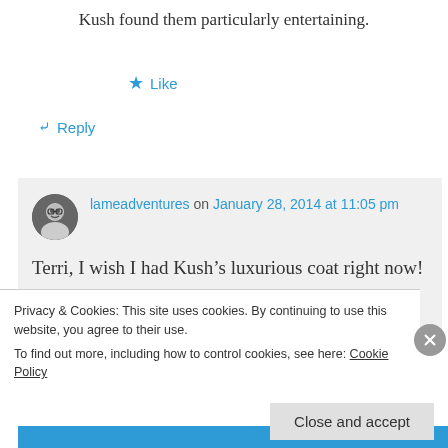Kush found them particularly entertaining.
★ Like
↪ Reply
lameadventures on January 28, 2014 at 11:05 pm
Terri, I wish I had Kush's luxurious coat right now! I am obsessive about checking the temperature. How obsessive? I can
Privacy & Cookies: This site uses cookies. By continuing to use this website, you agree to their use.
To find out more, including how to control cookies, see here: Cookie Policy
Close and accept